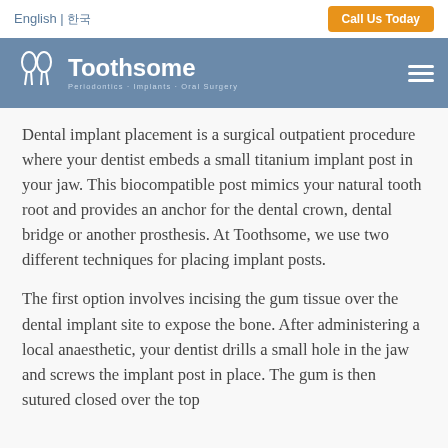English | 한국어
Call Us Today
[Figure (logo): Toothsome logo with tooth icon — Periodontics · Implants · Oral Surgery]
Dental implant placement is a surgical outpatient procedure where your dentist embeds a small titanium implant post in your jaw. This biocompatible post mimics your natural tooth root and provides an anchor for the dental crown, dental bridge or another prosthesis. At Toothsome, we use two different techniques for placing implant posts.
The first option involves incising the gum tissue over the dental implant site to expose the bone. After administering a local anaesthetic, your dentist drills a small hole in the jaw and screws the implant post in place. The gum is then sutured closed over the top of the implant.